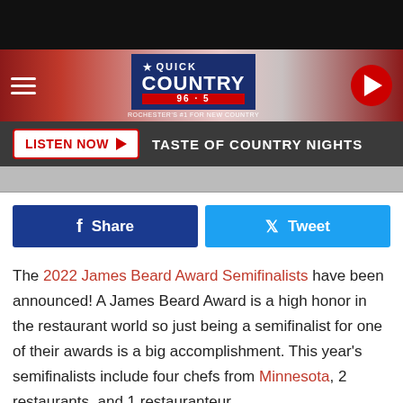[Figure (screenshot): Black top bar of mobile browser/app]
Quick Country 96.5 — header band with logo, hamburger menu, and play button
LISTEN NOW ▶  TASTE OF COUNTRY NIGHTS
[Figure (screenshot): Partial article thumbnail image]
f Share   Tweet
The 2022 James Beard Award Semifinalists have been announced! A James Beard Award is a high honor in the restaurant world so just being a semifinalist for one of their awards is a big accomplishment. This year's semifinalists include four chefs from Minnesota, 2 restaurants, and 1 restauranteur.
2022 James Beard Award Semifinalists - Minnesota Restaurants